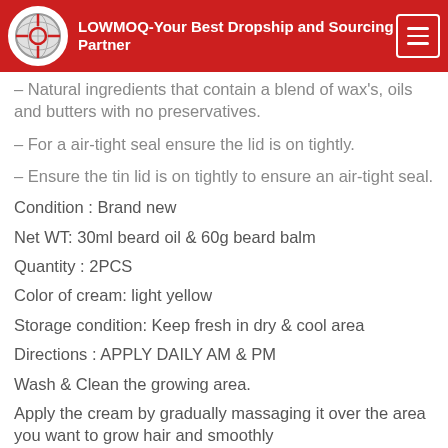LOWMOQ-Your Best Dropship and Sourcing Partner
– Natural ingredients that contain a blend of wax's, oils and butters with no preservatives.
– For a air-tight seal ensure the lid is on tightly.
– Ensure the tin lid is on tightly to ensure an air-tight seal.
Condition : Brand new
Net WT: 30ml beard oil & 60g beard balm
Quantity : 2PCS
Color of cream: light yellow
Storage condition: Keep fresh in dry & cool area
Directions : APPLY DAILY AM & PM
Wash & Clean the growing area.
Apply the cream by gradually massaging it over the area you want to grow hair and smoothly